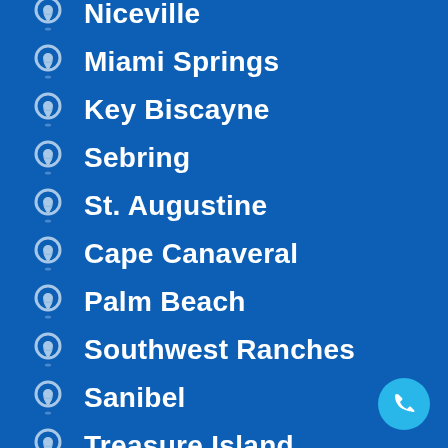Niceville
Miami Springs
Key Biscayne
Sebring
St. Augustine
Cape Canaveral
Palm Beach
Southwest Ranches
Sanibel
Treasure Island